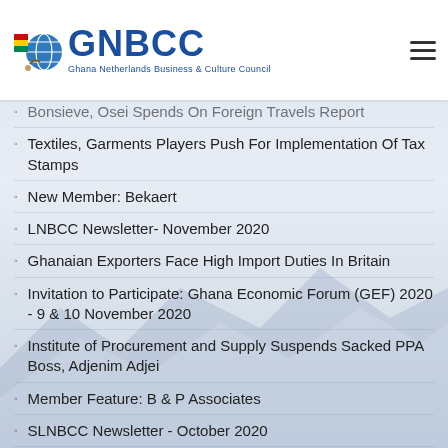GNBCC — Ghana Netherlands Business & Culture Council
Bonsieve, Osei Spends On Foreign Travels Report
Textiles, Garments Players Push For Implementation Of Tax Stamps
New Member: Bekaert
LNBCC Newsletter- November 2020
Ghanaian Exporters Face High Import Duties In Britain
Invitation to Participate: Ghana Economic Forum (GEF) 2020 - 9 & 10 November 2020
Institute of Procurement and Supply Suspends Sacked PPA Boss, Adjenim Adjei
Member Feature: B & P Associates
SLNBCC Newsletter - October 2020
Ghana Not Declared As HIPC – IMF Country Representative
NABC Workshop: Sustainable Ports in Africa